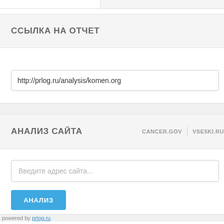ССЫЛКА НА ОТЧЕТ
http://prlog.ru/analysis/komen.org
АНАЛИЗ САЙТА
CANCER.GOV | VSE5KI.RU
Введите адрес сайта...
АНАЛИЗ
powered by prlog.ru